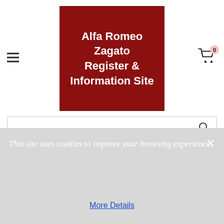Alfa Romeo Zagato Register & Information Site
Home → Alfa Romeo 1300 JZ Register → Alfa Romeo Junior Zagato 1300 1800488
This site uses cookies to improve your browsing experience.
More Details